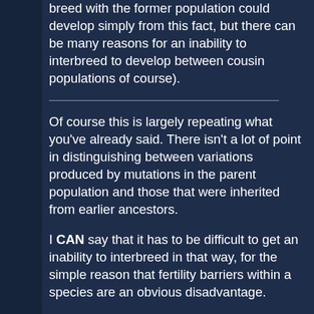breed with the former population could develop simply from this fact, but there can be many reasons for an inability to interbreed to develop between cousin populations of course).
Of course this is largely repeating what you've already said. There isn't a lot of point in distinguishing between variations produced by mutations in the parent population and those that were inherited from earlier ancestors.
I CAN say that it has to be difficult to get an inability to interbreed in that way, for the simple reason that fertility barriers within a species are an obvious disadvantage.
quote:
If the original number of founders of the new population was quite small I would expect the change